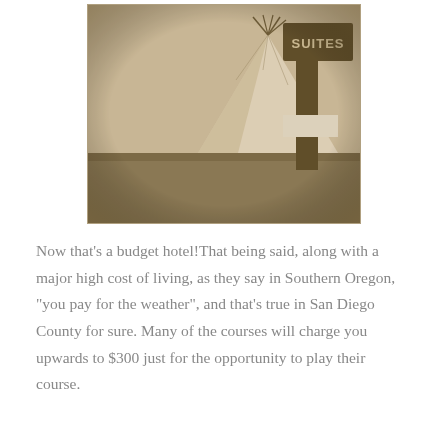[Figure (photo): Sepia-toned photograph showing a teepee on a flat grassy plain with a hotel 'SUITES' sign post to the right, humorous juxtaposition suggesting a budget lodging option.]
Now that's a budget hotel!That being said, along with a major high cost of living, as they say in Southern Oregon, "you pay for the weather", and that's true in San Diego County for sure. Many of the courses will charge you upwards to $300 just for the opportunity to play their course.